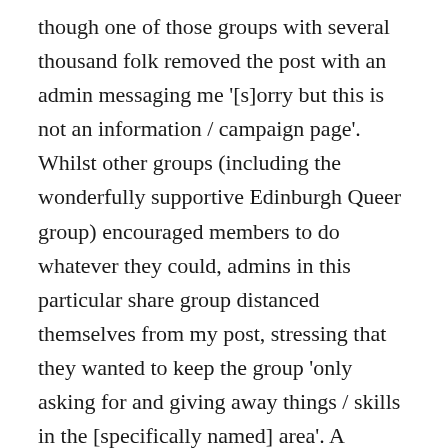though one of those groups with several thousand folk removed the post with an admin messaging me '[s]orry but this is not an information / campaign page'. Whilst other groups (including the wonderfully supportive Edinburgh Queer group) encouraged members to do whatever they could, admins in this particular share group distanced themselves from my post, stressing that they wanted to keep the group 'only asking for and giving away things / skills in the [specifically named] area'. A disappointing stance in space intended for cross-community support. It links directly to a comment Robert made during our chat: 'These people who fighting on me and the others [sic], and these people who see and are doing nothing – it's the same guilty [sic]. It sends, for me, a bad message'.